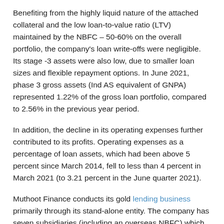Benefiting from the highly liquid nature of the attached collateral and the low loan-to-value ratio (LTV) maintained by the NBFC – 50-60% on the overall portfolio, the company's loan write-offs were negligible. Its stage -3 assets were also low, due to smaller loan sizes and flexible repayment options. In June 2021, phase 3 gross assets (Ind AS equivalent of GNPA) represented 1.22% of the gross loan portfolio, compared to 2.56% in the previous year period.
In addition, the decline in its operating expenses further contributed to its profits. Operating expenses as a percentage of loan assets, which had been above 5 percent since March 2014, fell to less than 4 percent in March 2021 (to 3.21 percent in the June quarter 2021).
Muthoot Finance conducts its gold lending business primarily through its stand-alone entity. The company has seven subsidiaries (including an overseas NBFC) which are active in the business of real estate finance, vehicle finance, microfinance,